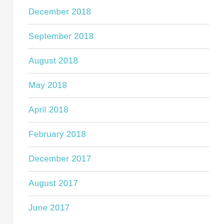December 2018
September 2018
August 2018
May 2018
April 2018
February 2018
December 2017
August 2017
June 2017